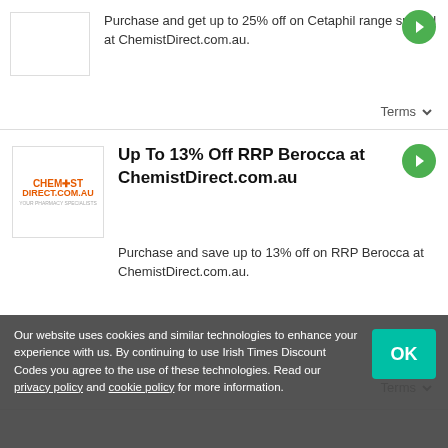Purchase and get up to 25% off on Cetaphil range special at ChemistDirect.com.au.
Terms
Up To 13% Off RRP Berocca at ChemistDirect.com.au
Purchase and save up to 13% off on RRP Berocca at ChemistDirect.com.au.
Terms
Our website uses cookies and similar technologies to enhance your experience with us. By continuing to use Irish Times Discount Codes you agree to the use of these technologies. Read our privacy policy and cookie policy for more information.